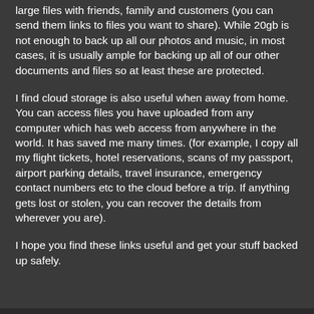large files with friends, family and customers (you can send them links to files you want to share). While 20gb is not enough to back up all our photos and music, in most cases, it is usually ample for backing up all of our other documents and files so at least these are protected.
I find cloud storage is also useful when away from home. You can access files you have uploaded from any computer which has web access from anywhere in the world. It has saved me many times. (for example, I copy all my flight tickets, hotel reservations, scans of my passport, airport parking details, travel insurance, emergency contact numbers etc to the cloud before a trip. If anything gets lost or stolen, you can recover the details from wherever you are).
I hope you find these links useful and get your stuff backed up safely.